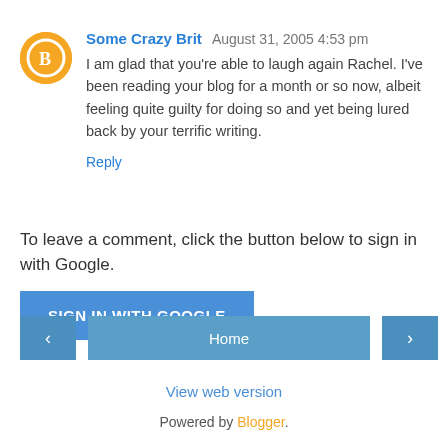Some Crazy Brit  August 31, 2005 4:53 pm
I am glad that you're able to laugh again Rachel. I've been reading your blog for a month or so now, albeit feeling quite guilty for doing so and yet being lured back by your terrific writing.
Reply
To leave a comment, click the button below to sign in with Google.
SIGN IN WITH GOOGLE
Home
View web version
Powered by Blogger.